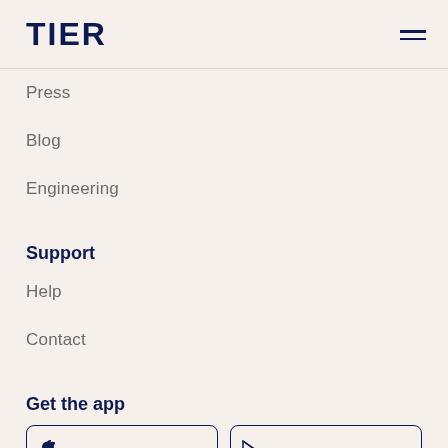TIER
Press
Blog
Engineering
Support
Help
Contact
Get the app
[Figure (screenshot): Download on the App Store button (partially visible)]
[Figure (screenshot): GET IT ON Google Play button (partially visible)]